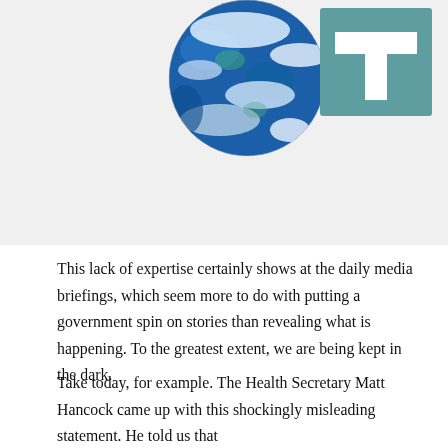[Figure (illustration): Top portion shows a photo of Earth (globe) on the left and a teal/green square logo with a white T-shaped symbol on the right, against a light gray background.]
This lack of expertise certainly shows at the daily media briefings, which seem more to do with putting a government spin on stories than revealing what is happening. To the greatest extent, we are being kept in the dark.
Take today, for example. The Health Secretary Matt Hancock came up with this shockingly misleading statement. He told us that